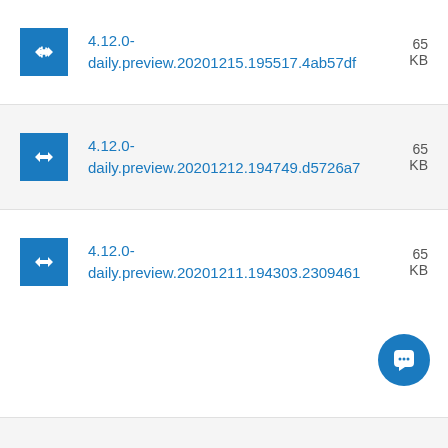4.12.0-daily.preview.20201215.195517.4ab57df  65 KB
4.12.0-daily.preview.20201212.194749.d5726a7  65 KB
4.12.0-daily.preview.20201211.194303.2309461  65 KB